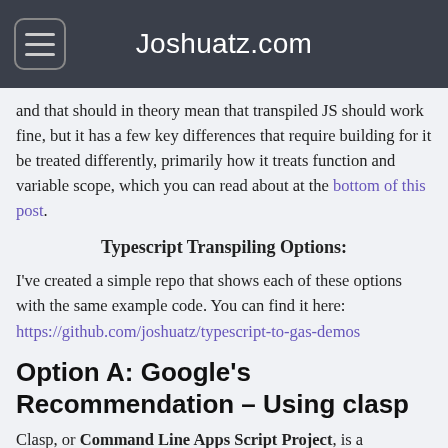Joshuatz.com
and that should in theory mean that transpiled JS should work fine, but it has a few key differences that require building for it be treated differently, primarily how it treats function and variable scope, which you can read about at the bottom of this post.
Typescript Transpiling Options:
I've created a simple repo that shows each of these options with the same example code. You can find it here: https://github.com/joshuatz/typescript-to-gas-demos
Option A: Google's Recommendation – Using clasp
Clasp, or Command Line Apps Script Project, is a